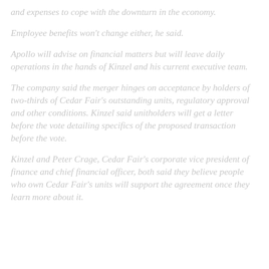and expenses to cope with the downturn in the economy.
Employee benefits won't change either, he said.
Apollo will advise on financial matters but will leave daily operations in the hands of Kinzel and his current executive team.
The company said the merger hinges on acceptance by holders of two-thirds of Cedar Fair's outstanding units, regulatory approval and other conditions. Kinzel said unitholders will get a letter before the vote detailing specifics of the proposed transaction before the vote.
Kinzel and Peter Crage, Cedar Fair's corporate vice president of finance and chief financial officer, both said they believe people who own Cedar Fair's units will support the agreement once they learn more about it.